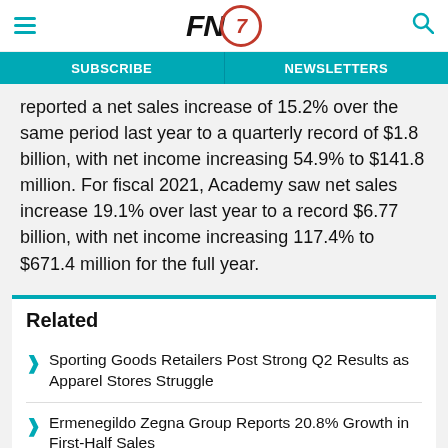FN7 [Footwear News logo with navigation hamburger menu and search icon]
reported a net sales increase of 15.2% over the same period last year to a quarterly record of $1.8 billion, with net income increasing 54.9% to $141.8 million. For fiscal 2021, Academy saw net sales increase 19.1% over last year to a record $6.77 billion, with net income increasing 117.4% to $671.4 million for the full year.
Related
Sporting Goods Retailers Post Strong Q2 Results as Apparel Stores Struggle
Ermenegildo Zegna Group Reports 20.8% Growth in First-Half Sales
Gap to Shed 'Unproductive' Inventory, Cut Receipts as It Swings to a Loss in Q2